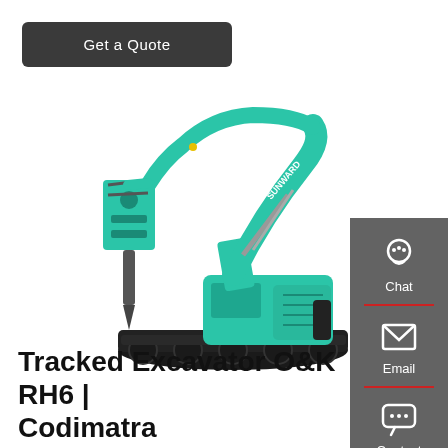Get a Quote
[Figure (photo): Teal/turquoise Sunward tracked excavator with hydraulic breaker attachment, shown on white background. The machine has black undercarriage tracks and the Sunward brand name visible on the boom.]
[Figure (infographic): Right sidebar with dark grey background showing three contact icons: Chat (headset icon), Email (envelope icon), Contact (speech bubble with dots icon), separated by red horizontal dividers.]
Tracked Excavator O&K RH6 | Codimatra